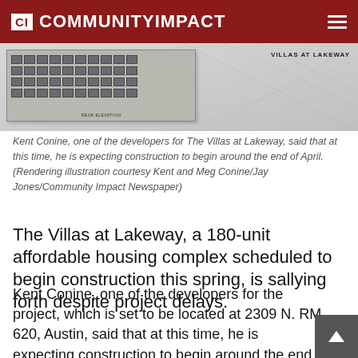CI COMMUNITYIMPACT
[Figure (photo): Architectural rendering of The Villas at Lakeway building elevation, showing a multi-story residential building facade with rows of windows, overlaid on blueprint-style site plan drawings. 'VILLAS AT LAKEWAY' text visible in upper right. 'REAR ELEVATION' label at bottom.]
Kent Conine, one of the developers for The Villas at Lakeway, said that at this time, he is expecting construction to begin around the end of April. (Rendering illustration courtesy Kent and Meg Conine/Jay Jones/Community Impact Newspaper)
The Villas at Lakeway, a 180-unit affordable housing complex scheduled to begin construction this spring, is sallying forth despite project delays.
Kent Conine, one of the developers for the project, which is set to be located at 2309 N. RM 620, Austin, said that at this time, he is expecting construction to begin around the end of April.